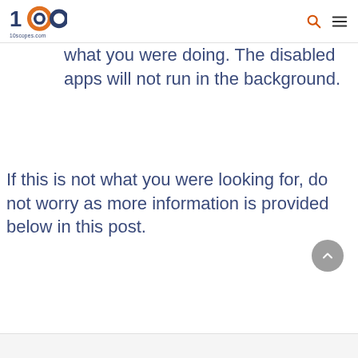10scopes.com
what you were doing. The disabled apps will not run in the background.
If this is not what you were looking for, do not worry as more information is provided below in this post.